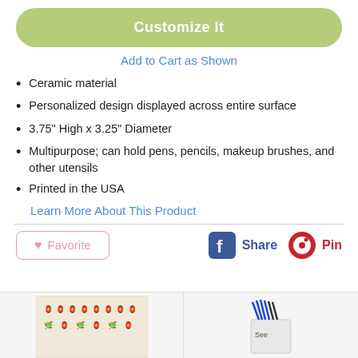Customize It
Add to Cart as Shown
Ceramic material
Personalized design displayed across entire surface
3.75" High x 3.25" Diameter
Multipurpose; can hold pens, pencils, makeup brushes, and other utensils
Printed in the USA
Learn More About This Product
Favorite   Share   Pin
[Figure (photo): Two product thumbnail images at the bottom of the page showing a decorated ceramic holder and a pencil holder labeled See]